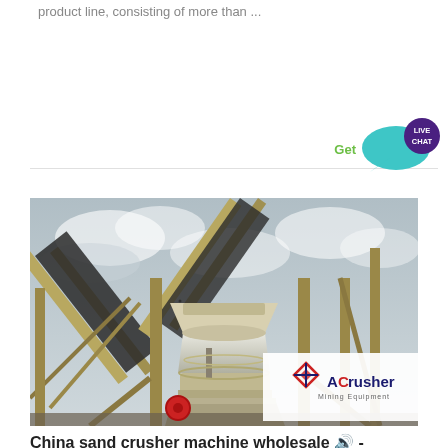product line, consisting of more than ...
[Figure (photo): Industrial cone crusher / sand crusher machine on a job site, with conveyor belts feeding material into the crusher from above. Overcast sky in background. ACrusher Mining Equipment logo overlay in bottom-right corner.]
China sand crusher machine wholesale 🔊 - Alibaba